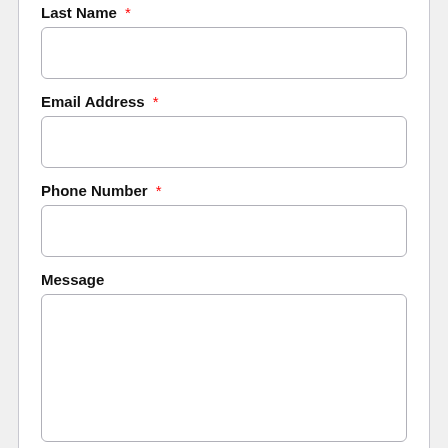Last Name *
Email Address *
Phone Number *
Message